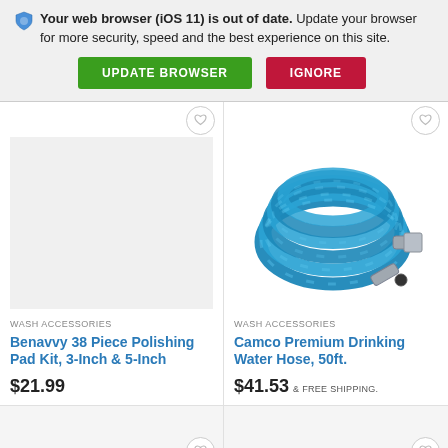Your web browser (iOS 11) is out of date. Update your browser for more security, speed and the best experience on this site.
UPDATE BROWSER
IGNORE
[Figure (photo): Empty light gray product image placeholder for Benavvy polishing pad kit]
WASH ACCESSORIES
Benavvy 38 Piece Polishing Pad Kit, 3-Inch & 5-Inch
$21.99
[Figure (photo): Coiled blue garden/drinking water hose with metal fittings - Camco Premium Drinking Water Hose 50ft]
WASH ACCESSORIES
Camco Premium Drinking Water Hose, 50ft.
$41.53 & FREE SHIPPING.